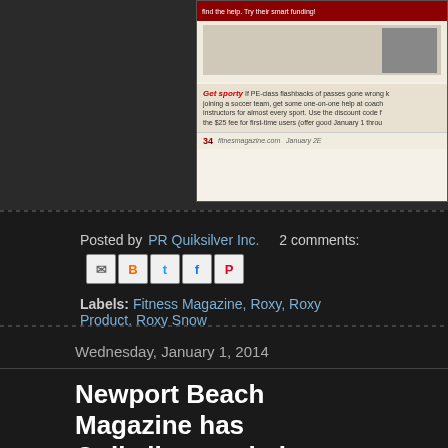[Figure (screenshot): Partial view of a fitness magazine page showing a 'Get sporty' section with text about PE-class flashbacks, soccer teams, one-on-one coaching, discount codes, and page number 34 with fitnessmgazine.com URL]
Posted by PR Quiksilver Inc.   2 comments:
Labels: Fitness Magazine, Roxy, Roxy Product, Roxy Snow
Wednesday, January 1, 2014
Newport Beach Magazine has Quiksilveron their Holiday Shopping List!
Newport Beach Magazine knows the sun always shines in Southern Ca... on their December 2014 issue's gift list! See which pairs th...